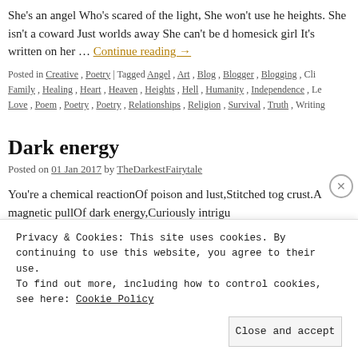She’s an angel Who’s scared of the light, She won’t use he heights. She isn’t a coward Just worlds away She can’t be d homesick girl It’s written on her … Continue reading →
Posted in Creative , Poetry | Tagged Angel , Art , Blog , Blogger , Blogging , Cli Family , Healing , Heart , Heaven , Heights , Hell , Humanity , Independence , Le Love , Poem , Poetry , Poetry , Relationships , Religion , Survival , Truth , Writing
Dark energy
Posted on 01 Jan 2017 by TheDarkestFairytale
You’re a chemical reactionOf poison and lust,Stitched tog crust.A magnetic pullOf dark energy,Curiously intrigu
Privacy & Cookies: This site uses cookies. By continuing to use this website, you agree to their use.
To find out more, including how to control cookies, see here: Cookie Policy
Close and accept